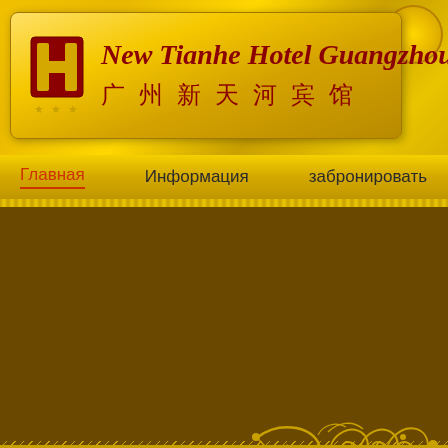[Figure (logo): New Tianhe Hotel Guangzhou logo with red H emblem and stars, golden background box]
New Tianhe Hotel Guangzhou
广州新天河宾馆
Главная   Информация   забронировать   Уд
[Figure (photo): Hotel building exterior photo showing a multi-story building with blue sky background, with a left navigation arrow overlay and golden ornamental border]
[Figure (illustration): Golden ornamental scrollwork decoration in top right of content area]